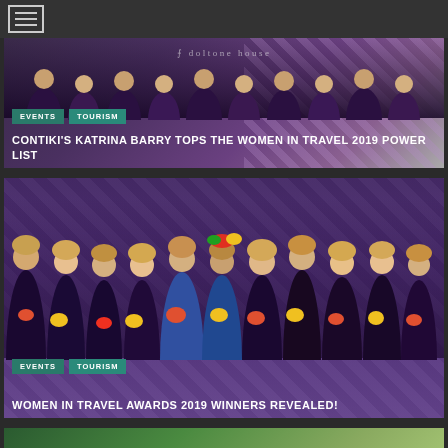[Figure (screenshot): Navigation bar with hamburger menu icon]
[Figure (photo): Event photo at Doltone House with dark purple patterned background]
EVENTS
TOURISM
CONTIKI'S KATRINA BARRY TOPS THE WOMEN IN TRAVEL 2019 POWER LIST
[Figure (photo): Group photo of Women in Travel Awards 2019 winners holding flowers against a purple patterned backdrop]
EVENTS
TOURISM
WOMEN IN TRAVEL AWARDS 2019 WINNERS REVEALED!
[Figure (photo): Partial view of a third article image at the bottom of the page]